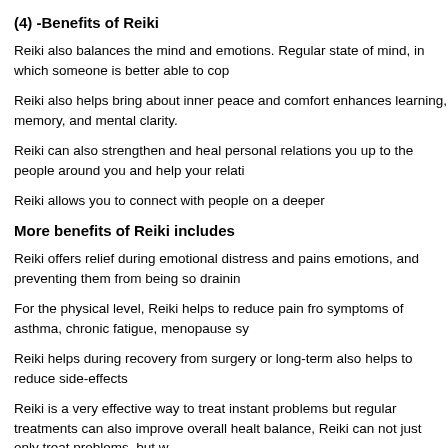(4) -Benefits of Reiki
Reiki also balances the mind and emotions. Regular state of mind, in which someone is better able to cop
Reiki also helps bring about inner peace and comfort enhances learning, memory, and mental clarity.
Reiki can also strengthen and heal personal relations you up to the people around you and help your relati
Reiki allows you to connect with people on a deeper
More benefits of Reiki includes
Reiki offers relief during emotional distress and pains emotions, and preventing them from being so drainin
For the physical level, Reiki helps to reduce pain fro symptoms of asthma, chronic fatigue, menopause sy
Reiki helps during recovery from surgery or long-term also helps to reduce side-effects
Reiki is a very effective way to treat instant problems but regular treatments can also improve overall healt balance, Reiki can not just only treat problems, but w